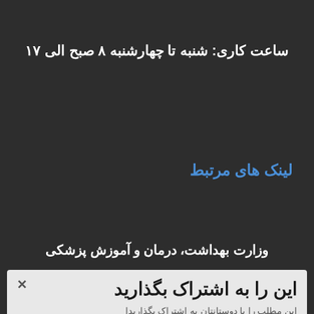ساعت کاری: شنبه تا چهارشنبه ۸ صبح الی ۱۷
لینک های مرتبط
وزارت بهداشت، درمان و آموزش پزشکی
سلامت الکترونیک ...
این را به اشتراک بگذارید
این مطلب را با دوستانتان به اشتراک بگذاریدا
دانشگاه علوم پزشکی البرز
f  Facebook